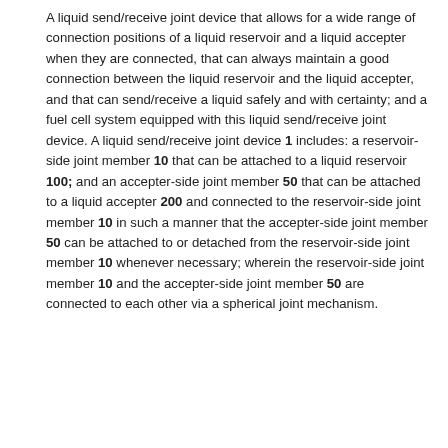A liquid send/receive joint device that allows for a wide range of connection positions of a liquid reservoir and a liquid accepter when they are connected, that can always maintain a good connection between the liquid reservoir and the liquid accepter, and that can send/receive a liquid safely and with certainty; and a fuel cell system equipped with this liquid send/receive joint device. A liquid send/receive joint device 1 includes: a reservoir-side joint member 10 that can be attached to a liquid reservoir 100; and an accepter-side joint member 50 that can be attached to a liquid accepter 200 and connected to the reservoir-side joint member 10 in such a manner that the accepter-side joint member 50 can be attached to or detached from the reservoir-side joint member 10 whenever necessary; wherein the reservoir-side joint member 10 and the accepter-side joint member 50 are connected to each other via a spherical joint mechanism.